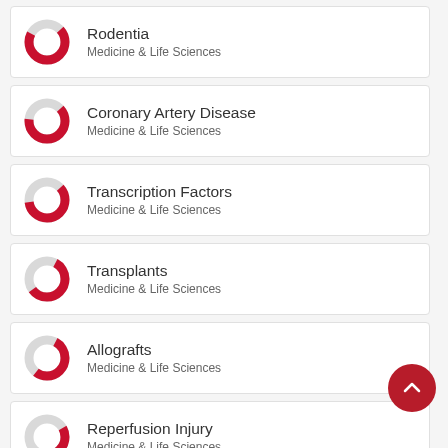[Figure (donut-chart): Donut chart icon for Rodentia, Medicine & Life Sciences]
Rodentia
Medicine & Life Sciences
[Figure (donut-chart): Donut chart icon for Coronary Artery Disease, Medicine & Life Sciences]
Coronary Artery Disease
Medicine & Life Sciences
[Figure (donut-chart): Donut chart icon for Transcription Factors, Medicine & Life Sciences]
Transcription Factors
Medicine & Life Sciences
[Figure (donut-chart): Donut chart icon for Transplants, Medicine & Life Sciences]
Transplants
Medicine & Life Sciences
[Figure (donut-chart): Donut chart icon for Allografts, Medicine & Life Sciences]
Allografts
Medicine & Life Sciences
[Figure (donut-chart): Donut chart icon for Reperfusion Injury, Medicine & Life Sciences]
Reperfusion Injury
Medicine & Life Sciences
[Figure (donut-chart): Donut chart icon for Tunica Intima, Medicine & Life Sciences]
Tunica Intima
Medicine & Life Sciences